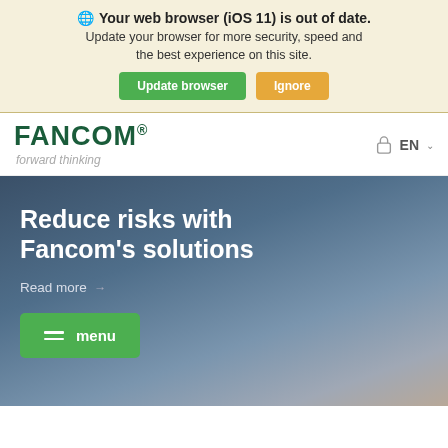🌐 Your web browser (iOS 11) is out of date. Update your browser for more security, speed and the best experience on this site. [Update browser] [Ignore]
[Figure (logo): Fancom logo with registered trademark symbol and tagline 'forward thinking', with EN language selector and lock icon on the right]
Reduce risks with Fancom's solutions
Read more →
≡ menu